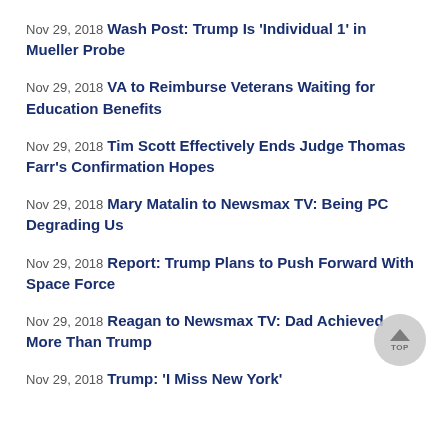Nov 29, 2018 Wash Post: Trump Is 'Individual 1' in Mueller Probe
Nov 29, 2018 VA to Reimburse Veterans Waiting for Education Benefits
Nov 29, 2018 Tim Scott Effectively Ends Judge Thomas Farr's Confirmation Hopes
Nov 29, 2018 Mary Matalin to Newsmax TV: Being PC Degrading Us
Nov 29, 2018 Report: Trump Plans to Push Forward With Space Force
Nov 29, 2018 Reagan to Newsmax TV: Dad Achieved More Than Trump
Nov 29, 2018 Trump: 'I Miss New York'